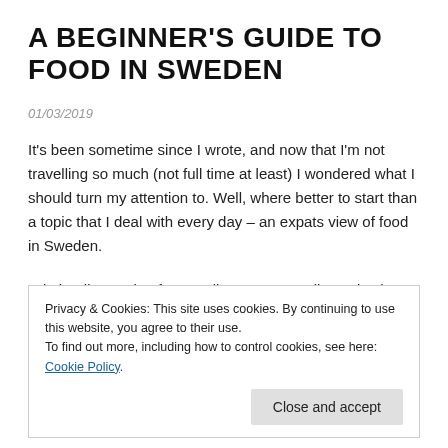A BEGINNER'S GUIDE TO FOOD IN SWEDEN
01/03/2019
It's been sometime since I wrote, and now that I'm not travelling so much (not full time at least) I wondered what I should turn my attention to. Well, where better to start than a topic that I deal with every day – an expats view of food in Sweden.
Admittedly, coming from Melbourne, Australia, a city that was voted the world's most liveable city 7 years in a row
Privacy & Cookies: This site uses cookies. By continuing to use this website, you agree to their use.
To find out more, including how to control cookies, see here: Cookie Policy
[Close and accept]